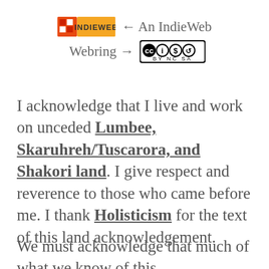[Figure (logo): IndieWeb Webring badge with IndieWeb logo and Creative Commons BY-NC-SA license badge]
I acknowledge that I live and work on unceded Lumbee, Skaruhreh/Tuscarora, and Shakori land. I give respect and reverence to those who came before me. I thank Holisticism for the text of this land acknowledgement.
We must acknowledge that much of what we know of this